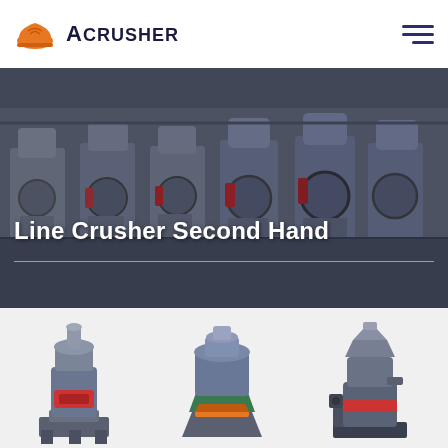[Figure (logo): Acrusher logo: orange hard-hat icon with 'ACRUSHER' text in dark navy bold font]
[Figure (photo): Hero banner showing industrial crusher/grinding mill machines in a factory setting, dark/grey toned photograph]
Line Crusher Second Hand
[Figure (photo): Hanging Roller Mill machine product image]
Hanging Roller Mill
[Figure (photo): Vertical Mill machine product image]
Vertical Mill
[Figure (photo): Ultrafine Mill machine product image]
Ultrafine Mill